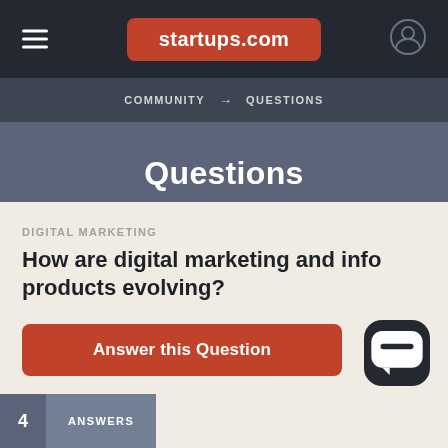startups.com
COMMUNITY → QUESTIONS
Questions
DIGITAL MARKETING
How are digital marketing and info products evolving?
Answer this Question
4 ANSWERS